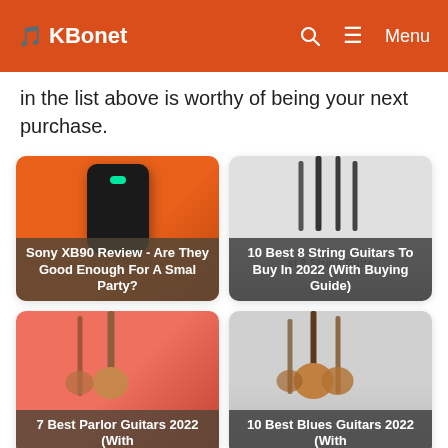KBonet
in the list above is worthy of being your next purchase.
[Figure (photo): Card thumbnail: Sony XB90 speaker on orange background with text overlay 'Sony XB90 Review - Are They Good Enough For A Small Party?']
[Figure (photo): Card thumbnail: 8-string guitars on gray background with text overlay '10 Best 8 String Guitars To Buy In 2022 (With Buying Guide)']
[Figure (photo): Card thumbnail: Parlor guitars on salmon/red background with text overlay '7 Best Parlor Guitars 2022 (With...']
[Figure (photo): Card thumbnail: Blues guitars on gray background with text overlay '10 Best Blues Guitars 2022 (With...']